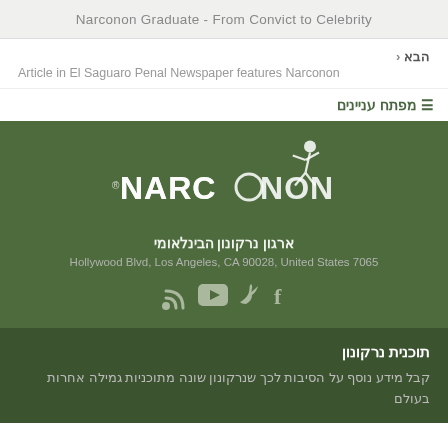Narconon Graduate - From Convict to Celebrity
הבא ‹
Article in El Saguaro Penal Newspaper features Narconon
≡ מפתח עניינים
[Figure (logo): Narconon logo with figure and registered trademark symbol]
ארגון נרקונון הבינלאומי
Hollywood Blvd, Los Angeles, CA 90028, United States 7065
[Figure (infographic): Social media icons: RSS, YouTube, Twitter, Facebook]
תוכנית נרקונון
קבל מידע נוסף על הסיבות לכך שנרקונון שונה מתוכניות גמילה אחרות בעולם